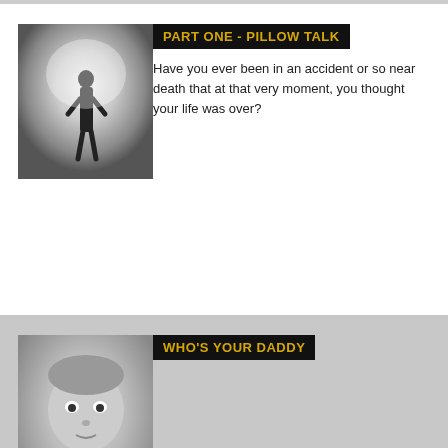[Figure (photo): Black and white foggy photo of a silhouette of a person standing in mist]
PART ONE - PILLOW TALK
Have you ever been in an accident or so near death that at that very moment, you thought your life was over?
[Figure (photo): Black and white portrait photo of a young child]
WHO'S YOUR DADDY
[Figure (photo): Color photo of a wrestling or fight scene with multiple people]
HELLO DADDY - EXTREME CONTENT
hello daddy !